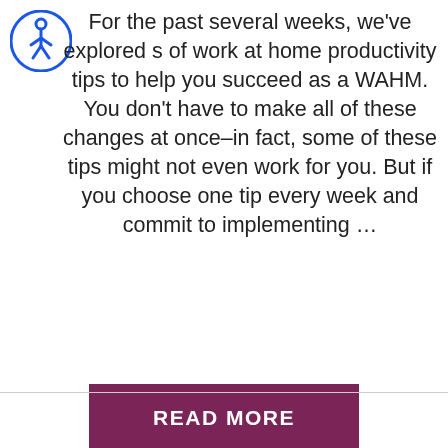[Figure (other): Blue circular accessibility icon (wheelchair user symbol) in top-left corner]
For the past several weeks, we've explored s of work at home productivity tips to help you succeed as a WAHM. You don't have to make all of these changes at once–in fact, some of these tips might not even work for you. But if you choose one tip every week and commit to implementing …
READ MORE